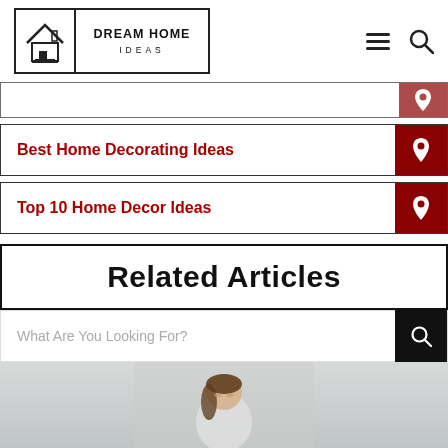[Figure (logo): Dream Home Ideas logo with house icon and brand name]
Best Home Decorating Ideas
Top 10 Home Decor Ideas
Related Articles
What Are You Looking For?
[Figure (photo): Person in a bright room, partial view at bottom of page]